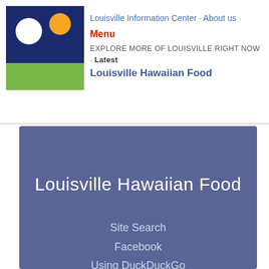Louisville Information Center · About us · Menu
EXPLORE MORE OF LOUISVILLE RIGHT NOW · Latest
Louisville Hawaiian Food
Louisville Hawaiian Food
Site Search
Facebook
Using DuckDuckGo
From the editors at Louisville Information Center
We love using DuckDuckGo Site Search and